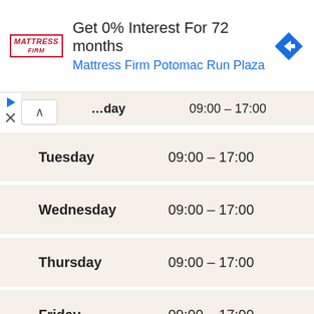[Figure (screenshot): Mattress Firm advertisement banner: 'Get 0% Interest For 72 months' and 'Mattress Firm Potomac Run Plaza' with logo and direction icon]
| Day | Hours |
| --- | --- |
| …day | 09:00 – 17:00 |
| Tuesday | 09:00 – 17:00 |
| Wednesday | 09:00 – 17:00 |
| Thursday | 09:00 – 17:00 |
| Friday | 09:00 – 17:00 |
| Saturday | – Closed |
| Sun… | Clo… |